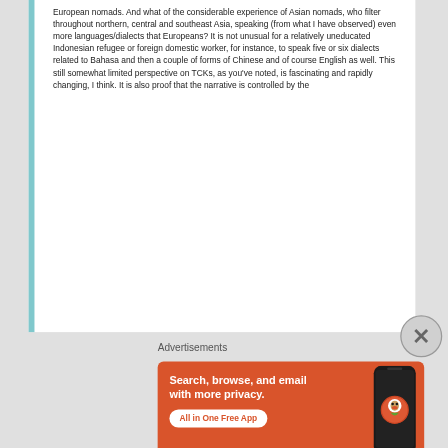European nomads. And what of the considerable experience of Asian nomads, who filter throughout northern, central and southeast Asia, speaking (from what I have observed) even more languages/dialects that Europeans? It is not unusual for a relatively uneducated Indonesian refugee or foreign domestic worker, for instance, to speak five or six dialects related to Bahasa and then a couple of forms of Chinese and of course English as well. This still somewhat limited perspective on TCKs, as you've noted, is fascinating and rapidly changing, I think. It is also proof that the narrative is controlled by the
Advertisements
[Figure (other): DuckDuckGo advertisement banner with orange background. Text reads 'Search, browse, and email with more privacy.' with a button 'All in One Free App'. Shows a smartphone and DuckDuckGo logo.]